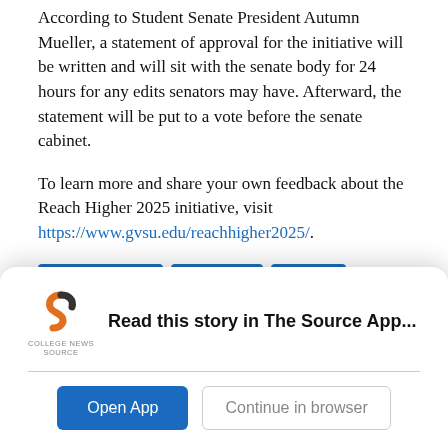According to Student Senate President Autumn Mueller, a statement of approval for the initiative will be written and will sit with the senate body for 24 hours for any edits senators may have. Afterward, the statement will be put to a vote before the senate cabinet.
To learn more and share your own feedback about the Reach Higher 2025 initiative, visit https://www.gvsu.edu/reachhigher2025/.
administration
allendale
GVSU
gvsu administration
leadership
news
reach higher
reach higher 2025
student
Read this story in The Source App...
Open App
Continue in browser